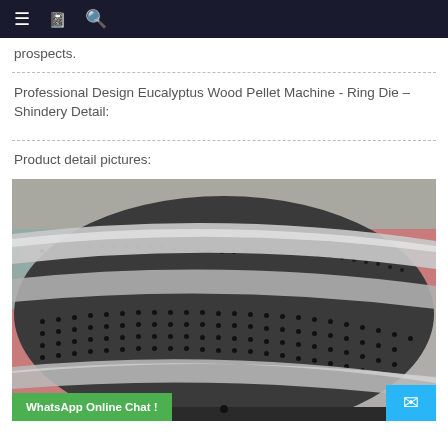≡ 🔖 🔍
prospects.
Professional Design Eucalyptus Wood Pellet Machine - Ring Die – Shindery Detail:
Product detail pictures:
[Figure (photo): A ring die component for a wood pellet machine, showing a perforated cylindrical metal drum with polished steel rings/bands around it, placed on a colorful patterned fabric surface.]